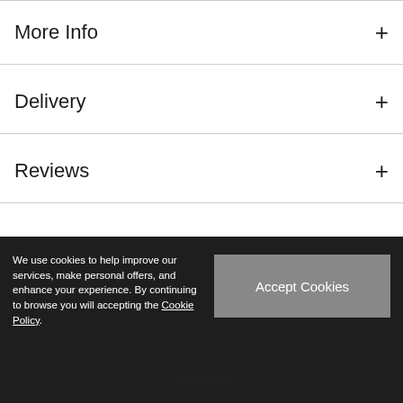More Info +
Delivery +
Reviews +
We use cookies to help improve our services, make personal offers, and enhance your experience. By continuing to browse you will accepting the Cookie Policy.
Accept Cookies
Subscribe for exclusive offers
Subscribe